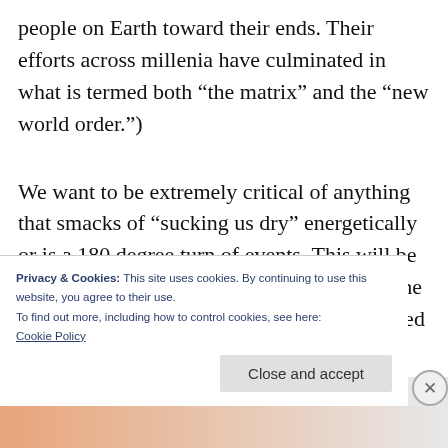people on Earth toward their ends.  Their efforts across millenia have culminated in what is termed both “the matrix” and the “new world order.”)
We want to be extremely critical of anything that smacks of “sucking us dry” energetically or is a 180 degree turn of events.  This will be the criteria on which to judge worthiness.  The questions to use are “Does this nurture or feed me?” and “Is this far-fetched?”
Privacy & Cookies: This site uses cookies. By continuing to use this website, you agree to their use.
To find out more, including how to control cookies, see here:
Cookie Policy